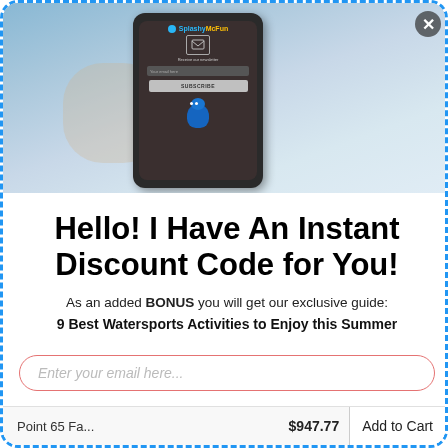[Figure (screenshot): Splashy McFun mobile app/website screenshot showing a newsletter subscription form with email input and Subscribe button, held by a hand against a blurred background. A blue mascot character appears at the bottom of the phone screen.]
Hello! I Have An Instant Discount Code for You!
As an added BONUS you will get our exclusive guide: 9 Best Watersports Activities to Enjoy this Summer
Enter your email here...
Point 65 Fa...  $947.77  Add to Cart